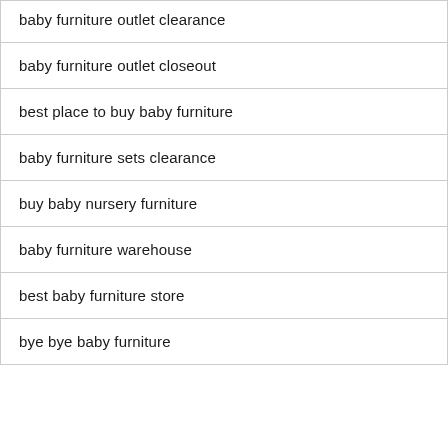| baby furniture outlet clearance |
| baby furniture outlet closeout |
| best place to buy baby furniture |
| baby furniture sets clearance |
| buy baby nursery furniture |
| baby furniture warehouse |
| best baby furniture store |
| bye bye baby furniture |